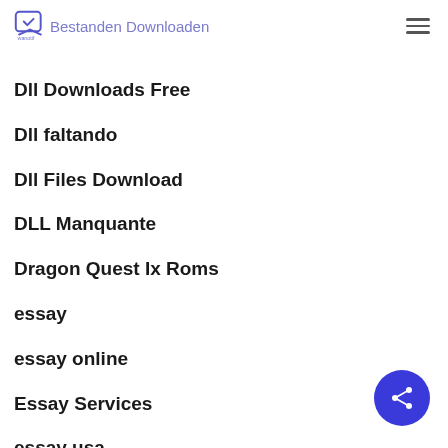Dll Bestanden Downloaden
Dll Downloads Free
Dll faltando
Dll Files Download
DLL Manquante
Dragon Quest Ix Roms
essay
essay online
Essay Services
essay usa
Essay Writer Cheap